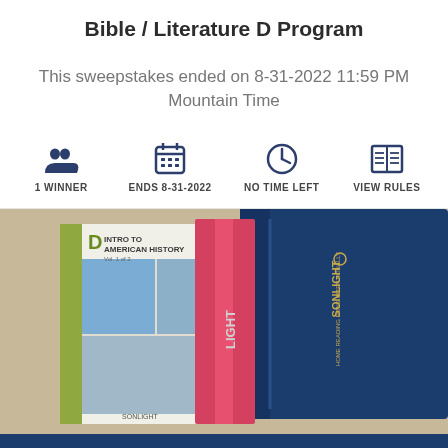Bible / Literature D Program
This sweepstakes ended on 8-31-2022 11:59 PM Mountain Time
[Figure (infographic): Four icons in a row: 1 WINNER (people icon), ENDS 8-31-2022 (calendar icon), NO TIME LEFT (clock icon), VIEW RULES (newspaper icon)]
[Figure (photo): Photo of Sonlight curriculum books: D Intro to American History book and a blue Sonlight binder on a light wooden surface]